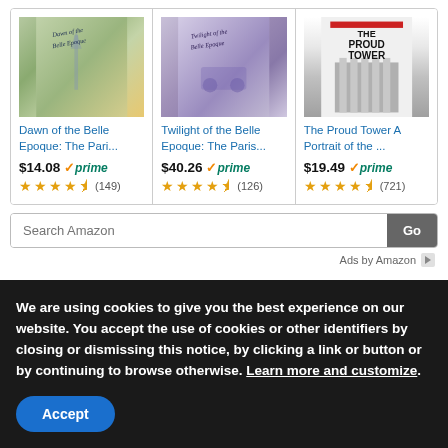[Figure (other): Amazon product listing showing three books: Dawn of the Belle Epoque: The Pari..., Twilight of the Belle Epoque: The Paris..., and The Proud Tower A Portrait of the ...]
Dawn of the Belle Epoque: The Pari... $14.08 prime ★★★★☆ (149)
Twilight of the Belle Epoque: The Paris... $40.26 prime ★★★★☆ (126)
The Proud Tower A Portrait of the ... $19.49 prime ★★★★☆ (721)
Search Amazon [Go]
Ads by Amazon
We are using cookies to give you the best experience on our website. You accept the use of cookies or other identifiers by closing or dismissing this notice, by clicking a link or button or by continuing to browse otherwise. Learn more and customize.
Accept